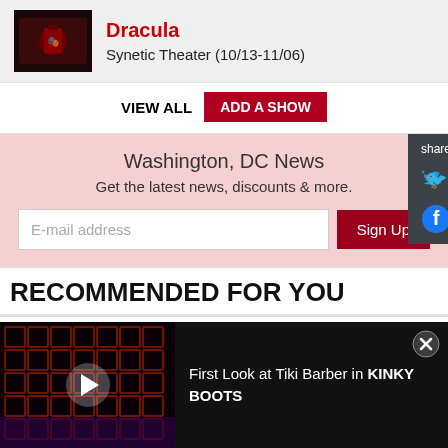[Figure (photo): Thumbnail image for Dracula show]
Dracula
Synetic Theater (10/13-11/06)
VIEW ALL  ADD A SHOW
Washington, DC News
Get the latest news, discounts & more.
E-mail address
Sign Up
share
RECOMMENDED FOR YOU
[Figure (photo): Headshot thumbnail for The Outsider article]
THE OUTSIDER By Paul Slade Smith Comes to
[Figure (screenshot): Video advertisement thumbnail for Kinky Boots show with red stage set]
First Look at Tiki Barber in KINKY BOOTS